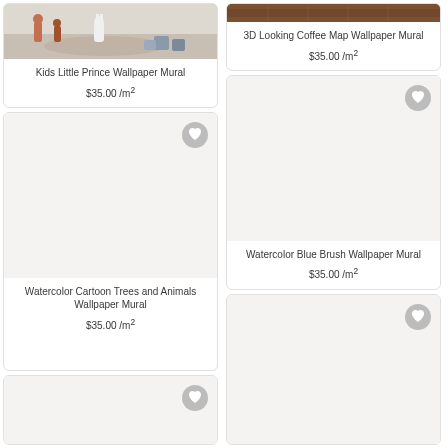[Figure (photo): Kids Little Prince Wallpaper Mural product image showing toy figurines and a bunny lamp]
Kids Little Prince Wallpaper Mural
$35.00 /m²
[Figure (photo): 3D Looking Coffee Map Wallpaper Mural product image showing coffee-colored map texture]
3D Looking Coffee Map Wallpaper Mural
$35.00 /m²
[Figure (photo): Watercolor Cartoon Trees and Animals Wallpaper Mural product image - blank/loading]
Watercolor Cartoon Trees and Animals Wallpaper Mural
$35.00 /m²
[Figure (photo): Watercolor Blue Brush Wallpaper Mural product image - blank/loading]
Watercolor Blue Brush Wallpaper Mural
$35.00 /m²
[Figure (photo): Fifth product card image area - blank/loading]
[Figure (photo): Sixth product card image area - blank/loading]